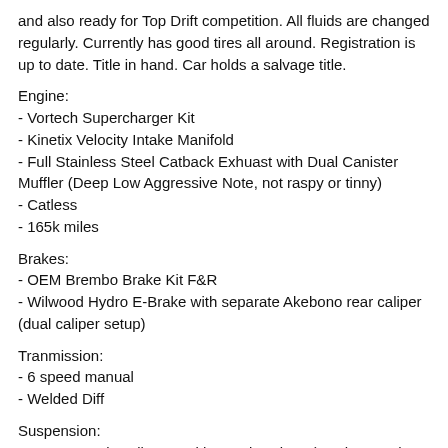and also ready for Top Drift competition. All fluids are changed regularly. Currently has good tires all around. Registration is up to date. Title in hand. Car holds a salvage title.
Engine:
- Vortech Supercharger Kit
- Kinetix Velocity Intake Manifold
- Full Stainless Steel Catback Exhuast with Dual Canister Muffler (Deep Low Aggressive Note, not raspy or tinny)
- Catless
- 165k miles
Brakes:
- OEM Brembo Brake Kit F&R
- Wilwood Hydro E-Brake with separate Akebono rear caliper (dual caliper setup)
Tranmission:
- 6 speed manual
- Welded Diff
Suspension:
- Megan Track Coilovers with Apexi Springs (much smoother ride)
- All rear arms replaced with adjustable arms.
- Powered by MAX Super Angle Kit